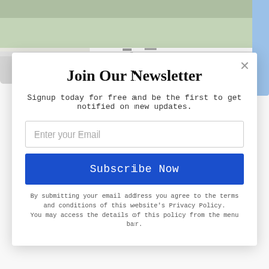[Figure (photo): Bicycle loaded with panniers and orange bags on a road, with grass in the background]
Bike Specs, Accessories and Spares – Cycling Across Australia
3 SEP, 2013
CYCLING ACROSS AUSTRALIA
[Figure (photo): Outdoor nature scene with green trees and foliage]
Join Our Newsletter
Signup today for free and be the first to get notified on new updates.
Enter your Email
Subscribe Now
By submitting your email address you agree to the terms and conditions of this website's Privacy Policy. You may access the details of this policy from the menu bar.